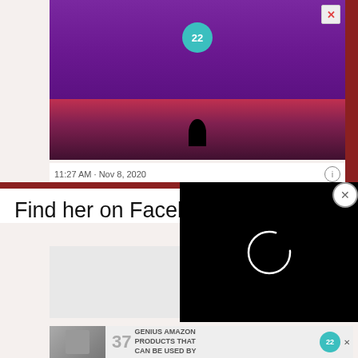[Figure (screenshot): Advertisement banner showing purple headphones and text '37 GENIUS AMAZON PRODUCTS THAT CAN BE USED BY ANYONE' with a teal circular logo numbered 22, and a lower image of a person on stage with colorful background]
11:27 AM · Nov 8, 2020
Find her on Facebook
[Figure (screenshot): Black video player overlay with white loading spinner circle]
CLOSE
[Figure (screenshot): Bottom advertisement strip showing thumbnails and text '37 GENIUS AMAZON PRODUCTS THAT CAN BE USED BY' with teal circular logo numbered 22]